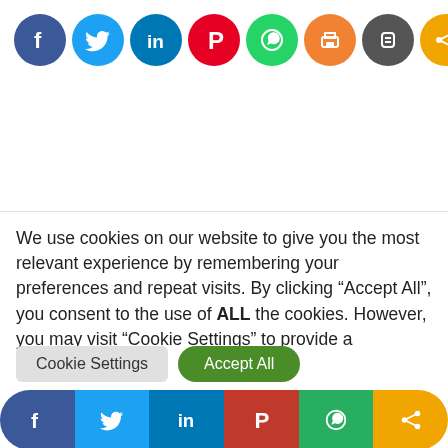[Figure (infographic): Row of 8 social media / sharing icon circles: Facebook (blue), Twitter (light blue), LinkedIn (dark blue), Pinterest (red), WhatsApp (green), Print (orange), Blogger (dark grey), Share (amber)]
We use cookies on our website to give you the most relevant experience by remembering your preferences and repeat visits. By clicking “Accept All”, you consent to the use of ALL the cookies. However, you may visit “Cookie Settings” to provide a controlled consent.
[Figure (infographic): Two buttons: 'Cookie Settings' (grey pill) and 'Accept All' (green pill). Below them a row of 6 large social sharing icon pills: Facebook (navy), Twitter (cyan), LinkedIn (blue), Pinterest (red), WhatsApp (green), Share (amber).]